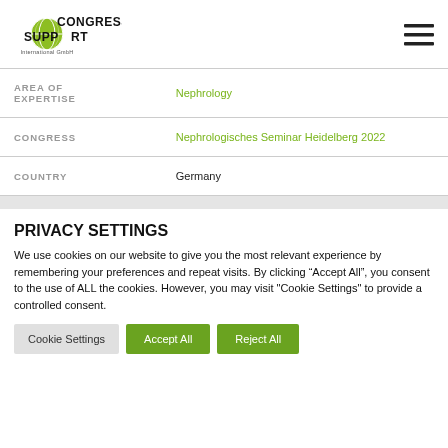[Figure (logo): Congress Support International GmbH logo with globe icon]
| AREA OF EXPERTISE | Nephrology |
| CONGRESS | Nephrologisches Seminar Heidelberg 2022 |
| COUNTRY | Germany |
PRIVACY SETTINGS
We use cookies on our website to give you the most relevant experience by remembering your preferences and repeat visits. By clicking “Accept All”, you consent to the use of ALL the cookies. However, you may visit "Cookie Settings" to provide a controlled consent.
Cookie Settings | Accept All | Reject All